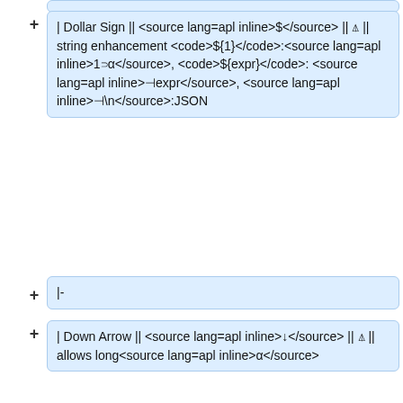| Dollar Sign || <source lang=apl inline>$</source> || ⍋ || string enhancement <code>${1}</code>:<source lang=apl inline>1⊃α</source>, <code>${expr}</code>:<source lang=apl inline>⊣expr</source>, <source lang=apl inline>⊣
</source>:JSON
|-
| Down Arrow || <source lang=apl inline>↓</source> || ⍋ || allows long<source lang=apl inline>α</source>
|-
| Down Shoe || <source lang=apl inline>∪</source> ||